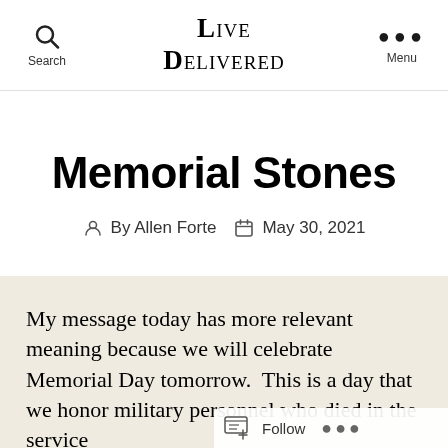Live Delivered
Memorial Stones
By Allen Forte   May 30, 2021
My message today has more relevant meaning because we will celebrate Memorial Day tomorrow.  This is a day that we honor military personnel who died in the service